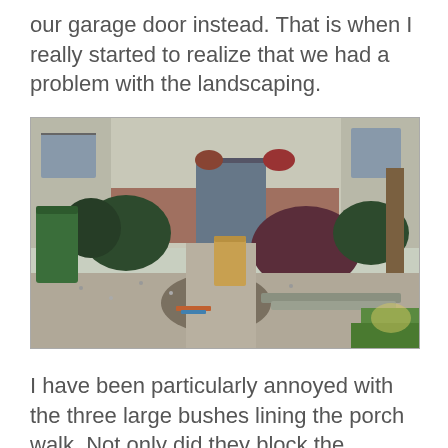our garage door instead. That is when I really started to realize that we had a problem with the landscaping.
[Figure (photo): Outdoor photo of a house front yard showing shrubs, gravel landscaping, a brown paper bag on the walkway, a green trash bin on the left, and grass on the right.]
I have been particularly annoyed with the three large bushes lining the porch walk. Not only did they block the sidewalk despite my trimming them down, but those trims left me with some nasty war wounds, as we're dealing